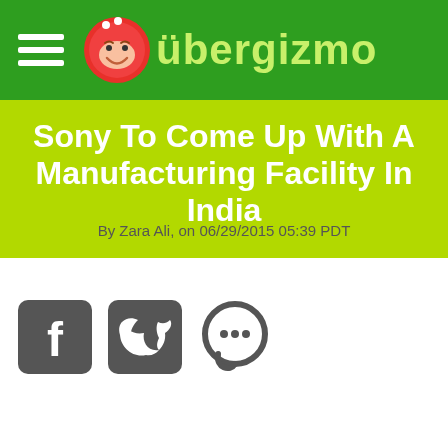übergizmo
Sony To Come Up With A Manufacturing Facility In India
By Zara Ali, on 06/29/2015 05:39 PDT
[Figure (infographic): Social sharing icons: Facebook, Twitter, and Comments/Chat]